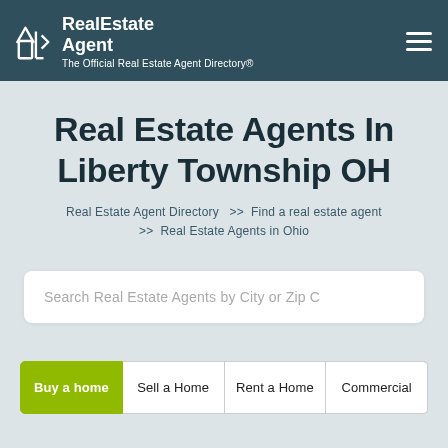RealEstate Agent – The Official Real Estate Agent Directory®
Real Estate Agents In Liberty Township OH
Real Estate Agent Directory >> Find a real estate agent >> Real Estate Agents in Ohio
Search Real Estate Agents by City or Zip C
Buy a home | Sell a Home | Rent a Home | Commercial